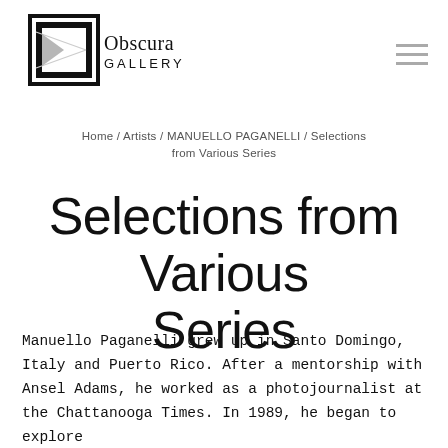[Figure (logo): Obscura Gallery logo with camera obscura graphic and text]
Home / Artists / MANUELLO PAGANELLI / Selections from Various Series
Selections from Various Series
Manuello Paganelli grew up in Santo Domingo, Italy and Puerto Rico. After a mentorship with Ansel Adams, he worked as a photojournalist at the Chattanooga Times. In 1989, he began to explore